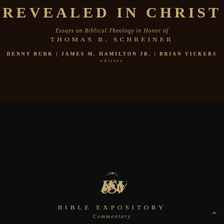REVEALED IN CHRIST
Essays on Biblical Theology in Honor of THOMAS R. SCHREINER
DENNY BURK | JAMES M. HAMILTON JR. | BRIAN VICKERS editors
[Figure (logo): ESV monogram logo with stylized letters]
BIBLE EXPOSITORY Commentary